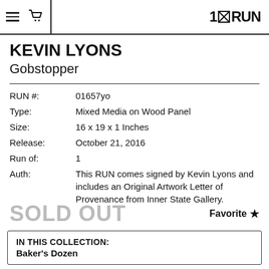1×RUN
KEVIN LYONS
Gobstopper
| Field | Value |
| --- | --- |
| RUN #: | 01657yo |
| Type: | Mixed Media on Wood Panel |
| Size: | 16 x 19 x 1 Inches |
| Release: | October 21, 2016 |
| Run of: | 1 |
| Auth: | This RUN comes signed by Kevin Lyons and includes an Original Artwork Letter of Provenance from Inner State Gallery. |
SOLD OUT
Favorite ★
IN THIS COLLECTION:
Baker's Dozen